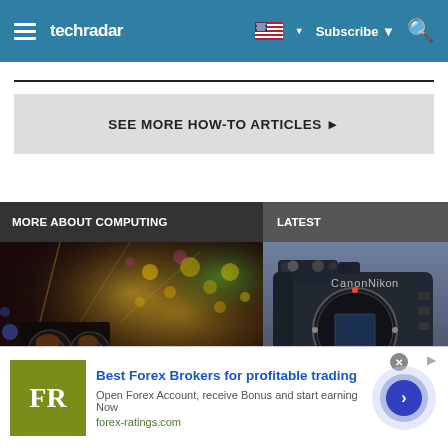techradar — Subscribe — Search
SEE MORE HOW-TO ARTICLES ▶
MORE ABOUT COMPUTING
LATEST
[Figure (photo): DJ mixing at a concert with bokeh lights in the background]
[Figure (photo): Canon EOS mirrorless camera body with Nikon branding visible]
[Figure (advertisement): Ad banner: FR logo, Best Forex Brokers for profitable trading, forex-ratings.com]